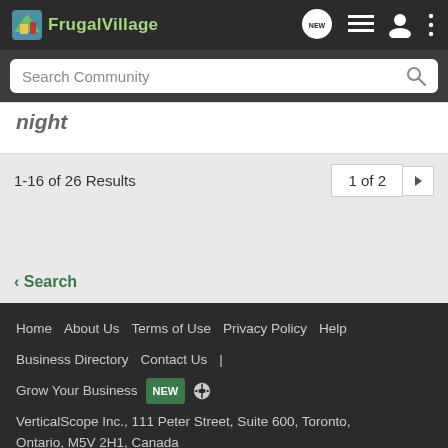FrugalVillage
Search Community
night
1-16 of 26 Results
1 of 2
< Search
Home   About Us   Terms of Use   Privacy Policy   Help   Business Directory   Contact Us   |   Grow Your Business   NEW   VerticalScope Inc., 111 Peter Street, Suite 600, Toronto, Ontario, M5V 2H1, Canada   The Fora platform includes forum software by XenForo